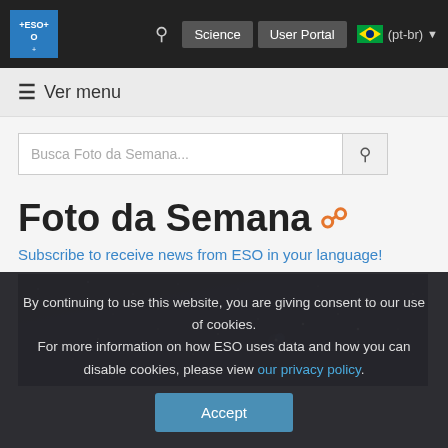ESO | Science | User Portal | (pt-br)
≡ Ver menu
Busca Foto da Semana...
Foto da Semana
Subscribe to receive news from ESO in your language!
[Figure (photo): Night sky astronomy photo showing stars and nebulae against a dark background]
By continuing to use this website, you are giving consent to our use of cookies.
For more information on how ESO uses data and how you can disable cookies, please view our privacy policy.